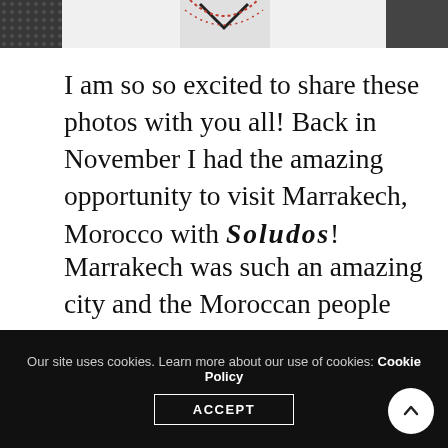[Figure (photo): Partial photo strip showing decorative/fashion items — dark patterned fabric on left and right edges, lighter marble-like surface in the center with colored accents]
I am so so excited to share these photos with you all! Back in November I had the amazing opportunity to visit Marrakech, Morocco with Soludos!
Marrakech was such an amazing city and the Moroccan people were the most beautiful and kind people I have ever met. The city had so much history and culture. Everywhere you looked there was 1,000 different details to see. At first it was a bit of sensory overload with all of the textures and colors, plus the hustle and bustle of the city- but
Our site uses cookies. Learn more about our use of cookies: Cookie Policy  ACCEPT